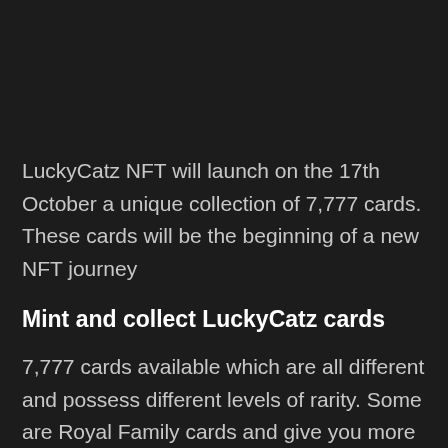LuckyCatz NFT will launch on the 17th October a unique collection of 7,777 cards. These cards will be the beginning of a new NFT journey
Mint and collect LuckyCatz cards
7,777 cards available which are all different and possess different levels of rarity. Some are Royal Family cards and give you more power in the LuckyCatz ecosystem.